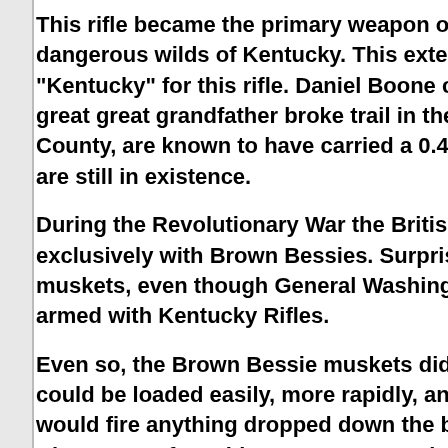This rifle became the primary weapon of the frontiersmen who settled the then remote and dangerous wilds of Kentucky. This extensive use of the rifle led to the adoption of the name "Kentucky" for this rifle. Daniel Boone carried a Kentucky Rifle through Cumberland Gap. My great great grandfather broke trail in the 1790s through Pound Gap, into what is now Letcher County, are known to have carried a 0.45 caliber Kentucky Rifle and these historic old rifles are still in existence.
During the Revolutionary War the British soldiers, trained to fight in formation, were supplied exclusively with Brown Bessies. Surprisingly, most of the American Armed Forces also carried muskets, even though General Washington made a special effort to recruit frontiersmen armed with Kentucky Rifles.
Even so, the Brown Bessie muskets did have a few advantages over the Kentucky Rifles. They could be loaded easily, more rapidly, and they did not require custom-made bullets; they would fire anything dropped down the barrel of the gun and would even function as a shotgun. Also, most of Washington's raw recruits were not good enough "shots" to exploit the extra accuracy of the Kentucky Rifle.
Nevertheless, General Washington was able to use a small...